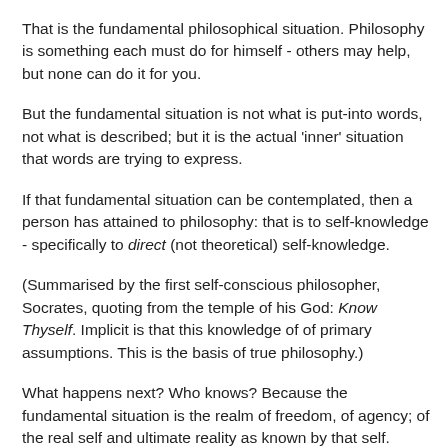That is the fundamental philosophical situation. Philosophy is something each must do for himself - others may help, but none can do it for you.
But the fundamental situation is not what is put-into words, not what is described; but it is the actual 'inner' situation that words are trying to express.
If that fundamental situation can be contemplated, then a person has attained to philosophy: that is to self-knowledge - specifically to direct (not theoretical) self-knowledge.
(Summarised by the first self-conscious philosopher, Socrates, quoting from the temple of his God: Know Thyself. Implicit is that this knowledge of of primary assumptions. This is the basis of true philosophy.)
What happens next? Who knows? Because the fundamental situation is the realm of freedom, of agency; of the real self and ultimate reality as known by that self.